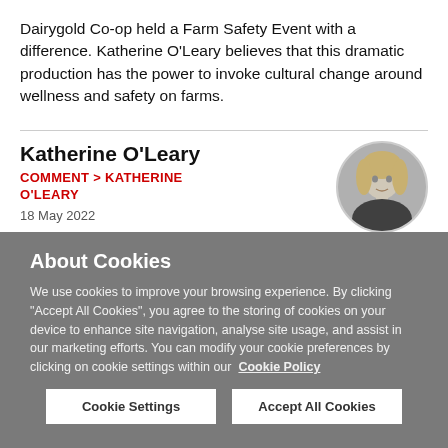Dairygold Co-op held a Farm Safety Event with a difference. Katherine O'Leary believes that this dramatic production has the power to invoke cultural change around wellness and safety on farms.
Katherine O'Leary
COMMENT > KATHERINE O'LEARY
18 May 2022
[Figure (photo): Circular headshot photo of Katherine O'Leary, a woman with blonde hair]
About Cookies
We use cookies to improve your browsing experience. By clicking "Accept All Cookies", you agree to the storing of cookies on your device to enhance site navigation, analyse site usage, and assist in our marketing efforts. You can modify your cookie preferences by clicking on cookie settings within our  Cookie Policy
Cookie Settings
Accept All Cookies